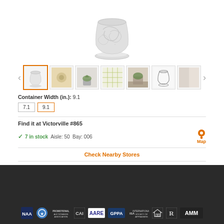[Figure (photo): White/cream ceramic flower pot with embossed swirl pattern and matching saucer, main product image]
[Figure (photo): Thumbnail strip of 7 product images: white pot (selected), close-up detail, lifestyle shot with plant, grid/pattern chart, pot with plant in room, line drawing/diagram, and a partially visible image]
Container Width (in.): 9.1
7.1   9.1
Find it at Victorville #865
7 in stock   Aisle: 50  Bay: 006
Map
Check Nearby Stores
$17.28
[Figure (logo): Footer logos strip on dark background: NAA, blue circular logo, Promotional Auctioneers Association, CAI, AARE, GPPA, ISA Appraisers Society, Equal Housing, Realtor R, AMM Auction Marketing Mgmt]